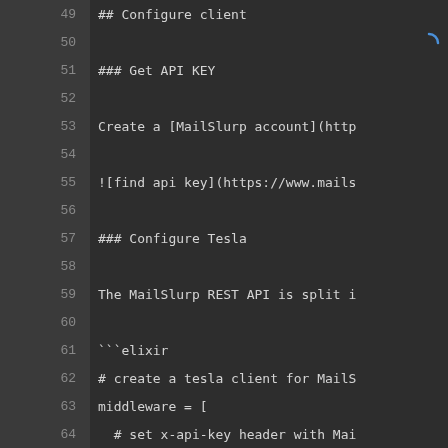[Figure (screenshot): Code editor screenshot showing Elixir markdown documentation with line numbers 49-70, dark theme background. Contains markdown headings, text, and Elixir code snippet configuring a Tesla HTTP client with MailSlurp middleware.]